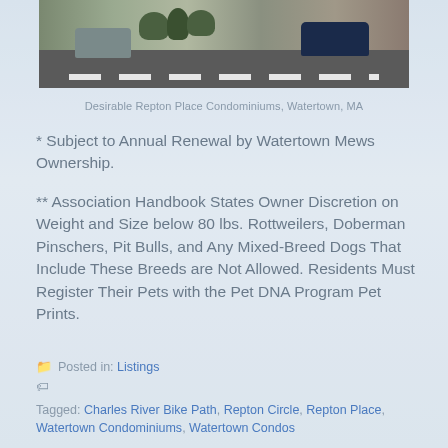[Figure (photo): Aerial/ground-level view of parking lot at Repton Place Condominiums, Watertown MA, with cars parked and residential buildings in background]
Desirable Repton Place Condominiums, Watertown, MA
* Subject to Annual Renewal by Watertown Mews Ownership.
** Association Handbook States Owner Discretion on Weight and Size below 80 lbs. Rottweilers, Doberman Pinschers, Pit Bulls, and Any Mixed-Breed Dogs That Include These Breeds are Not Allowed. Residents Must Register Their Pets with the Pet DNA Program Pet Prints.
Posted in: Listings
Tagged: Charles River Bike Path, Repton Circle, Repton Place, Watertown Condominiums, Watertown Condos